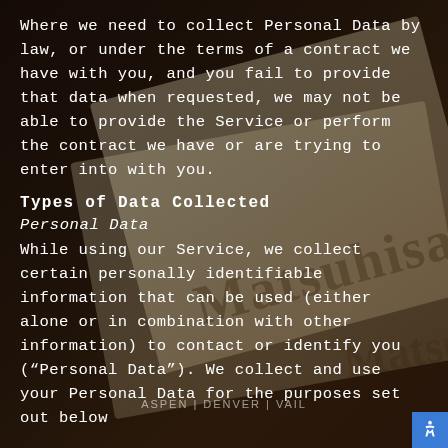Where we need to collect Personal Data by law, or under the terms of a contract we have with you, and you fail to provide that data when requested, we may not be able to provide the Service or perform the contract we have or are trying to enter into with you.
Types of Data Collected
Personal Data
While using our Service, we collect certain personally identifiable information that can be used (either alone or in combination with other information) to contact or identify you ("Personal Data"). We collect and use your Personal Data for the purposes set out below
ASPEN | DENVER | VAIL